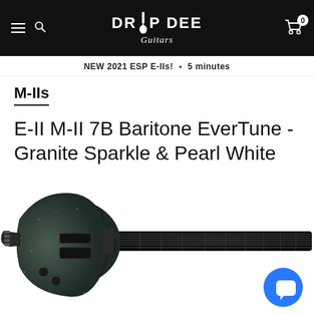Drop Dee Guitars — navigation header with hamburger menu, search icon, logo, and cart (0 items)
NEW 2021 ESP E-IIs! • 5 minutes
M-IIs
E-II M-II 7B Baritone EverTune - Granite Sparkle & Pearl White
[Figure (photo): Electric guitar (ESP E-II M-II 7B Baritone) in Granite Sparkle finish, 7-string, shown horizontally with dark sparkle body and black fretboard, with a blue chat bubble icon overlay in the bottom right corner.]